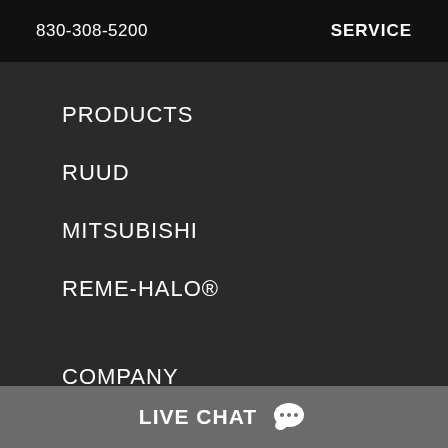830-308-5200    SERVICE
PRODUCTS
RUUD
MITSUBISHI
REME-HALO®
COMPANY
ABOUT US
SERVICE AREA
LIVE CHAT